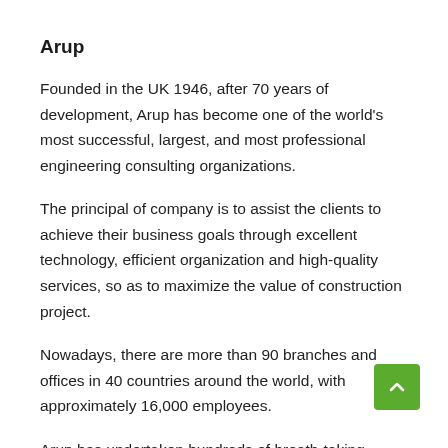Arup
Founded in the UK 1946, after 70 years of development, Arup has become one of the world’s most successful, largest, and most professional engineering consulting organizations.
The principal of company is to assist the clients to achieve their business goals through excellent technology, efficient organization and high-quality services, so as to maximize the value of construction project.
Nowadays, there are more than 90 branches and offices in 40 countries around the world, with approximately 16,000 employees.
Arup has undertaken hundreds of breath-taking projects engineer consultant services, like the world’s longest sea